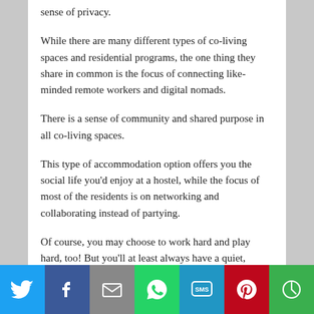sense of privacy.
While there are many different types of co-living spaces and residential programs, the one thing they share in common is the focus of connecting like-minded remote workers and digital nomads.
There is a sense of community and shared purpose in all co-living spaces.
This type of accommodation option offers you the social life you'd enjoy at a hostel, while the focus of most of the residents is on networking and collaborating instead of partying.
Of course, you may choose to work hard and play hard, too! But you'll at least always have a quiet, private space to retreat to whenever you need to.
[Figure (infographic): Social sharing bar with icons for Twitter, Facebook, Email, WhatsApp, SMS, Pinterest, and More]